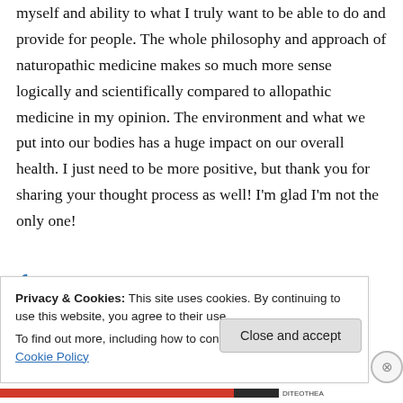myself and ability to what I truly want to be able to do and provide for people. The whole philosophy and approach of naturopathic medicine makes so much more sense logically and scientifically compared to allopathic medicine in my opinion. The environment and what we put into our bodies has a huge impact on our overall health. I just need to be more positive, but thank you for sharing your thought process as well! I'm glad I'm not the only one!
Privacy & Cookies: This site uses cookies. By continuing to use this website, you agree to their use.
To find out more, including how to control cookies, see here: Cookie Policy
Close and accept